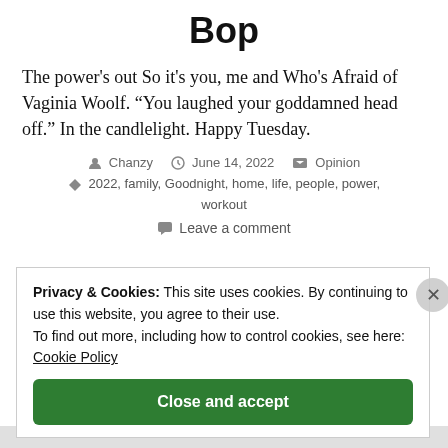Bop
The power's out So it's you, me and Who's Afraid of Vaginia Woolf. “You laughed your goddamned head off.” In the candlelight. Happy Tuesday.
Chanzy  June 14, 2022  Opinion  2022, family, Goodnight, home, life, people, power, workout
Leave a comment
Privacy & Cookies: This site uses cookies. By continuing to use this website, you agree to their use.
To find out more, including how to control cookies, see here: Cookie Policy
Close and accept